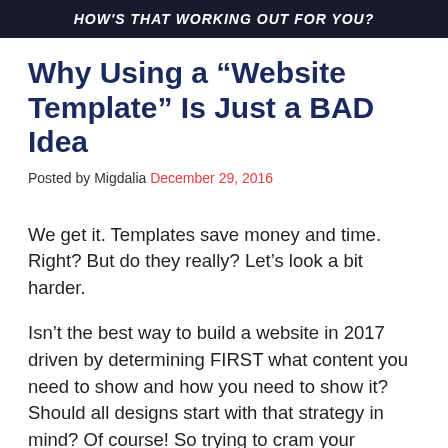[Figure (photo): Dark banner image with bold white italic text reading HOW'S THAT WORKING OUT FOR YOU?]
Why Using a “Website Template” Is Just a BAD Idea
Posted by Migdalia December 29, 2016
We get it. Templates save money and time. Right? But do they really? Let’s look a bit harder.
Isn’t the best way to build a website in 2017 driven by determining FIRST what content you need to show and how you need to show it? Should all designs start with that strategy in mind? Of course! So trying to cram your content into predefined areas doesn’t make much sense.
[Figure (other): Partial red bar/button at the bottom of the page]